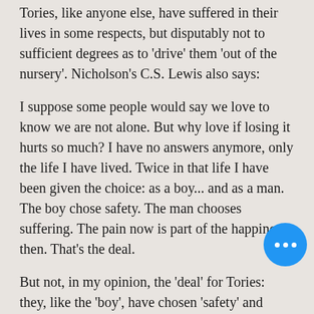Tories, like anyone else, have suffered in their lives in some respects, but disputably not to sufficient degrees as to 'drive' them 'out of the nursery'. Nicholson's C.S. Lewis also says:
I suppose some people would say we love to know we are not alone. But why love if losing it hurts so much? I have no answers anymore, only the life I have lived. Twice in that life I have been given the choice: as a boy... and as a man. The boy chose safety. The man chooses suffering. The pain now is part of the happiness then. That's the deal.
But not, in my opinion, the 'deal' for Tories: they, like the 'boy', have chosen 'safety' and somehow –mostly through the cushioning of high privilege– have not yet had to relinquish it. Their 'happiness' has no 'pain' in the sense C.S. Lewis means it: the 'pain' applies